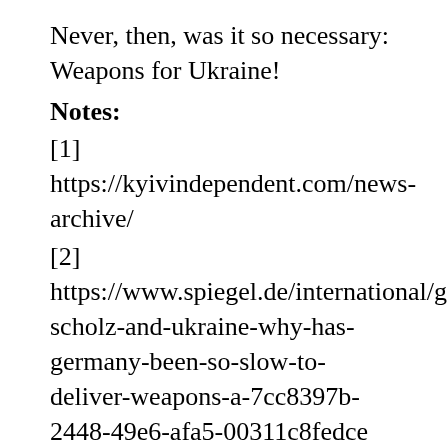Never, then, was it so necessary: Weapons for Ukraine!
Notes:
[1] https://kyivindependent.com/news-archive/
[2] https://www.spiegel.de/international/germany/olaf-scholz-and-ukraine-why-has-germany-been-so-slow-to-deliver-weapons-a-7cc8397b-2448-49e6-afa5-00311c8fedce
[3] The participation of autonomous companies (whether private, mixed or state-owned), whose cross-ownership between Russian and local shareholders in the distribution of Ukrainian gas, integrates the Ukrainian economic and political fabric